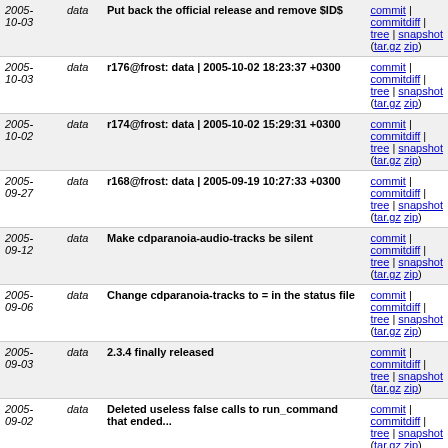| Date | Branch | Message | Links |
| --- | --- | --- | --- |
| 2005-10-03 | data | Put back the official release and remove $ID$ | commit | commitdiff | tree | snapshot (tar.gz zip) |
| 2005-10-03 | data | r176@frost: data | 2005-10-02 18:23:37 +0300 | commit | commitdiff | tree | snapshot (tar.gz zip) |
| 2005-10-02 | data | r174@frost: data | 2005-10-02 15:29:31 +0300 | commit | commitdiff | tree | snapshot (tar.gz zip) |
| 2005-09-27 | data | r168@frost: data | 2005-09-19 10:27:33 +0300 | commit | commitdiff | tree | snapshot (tar.gz zip) |
| 2005-09-12 | data | Make cdparanoia-audio-tracks be silent | commit | commitdiff | tree | snapshot (tar.gz zip) |
| 2005-09-06 | data | Change cdparanoia-tracks to = in the status file | commit | commitdiff | tree | snapshot (tar.gz zip) |
| 2005-09-03 | data | 2.3.4 finally released | commit | commitdiff | tree | snapshot (tar.gz zip) |
| 2005-09-02 | data | Deleted useless false calls to run_command that ended... | commit | commitdiff | tree | snapshot (tar.gz zip) |
| 2005-08-31 | data | r160@frost: data | 2005-08-31 15:59:53 +0300 | commit | commitdiff | tree | snapshot (tar.gz zip) |
| 2005-08-31 | data | Added quotes all over the place, to avoid the asterisk... | commit | commitdiff | tree | snapshot (tar.gz zip) |
| 2005- | data | Added quotes to the code to process | commit | commitdiff |